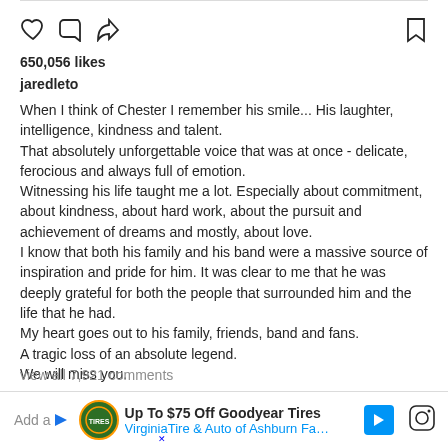[Figure (screenshot): Instagram action icons row: heart (like), comment bubble, share/upload arrow on left; bookmark icon on right]
650,056 likes
jaredleto
When I think of Chester I remember his smile... His laughter, intelligence, kindness and talent.
That absolutely unforgettable voice that was at once - delicate, ferocious and always full of emotion.
Witnessing his life taught me a lot. Especially about commitment, about kindness, about hard work, about the pursuit and achievement of dreams and mostly, about love.
I know that both his family and his band were a massive source of inspiration and pride for him. It was clear to me that he was deeply grateful for both the people that surrounded him and the life that he had.
My heart goes out to his family, friends, band and fans.
A tragic loss of an absolute legend.
We will miss you.
view all 7,921 comments
[Figure (screenshot): Advertisement banner: Up To $75 Off Goodyear Tires - VirginiaTire & Auto of Ashburn Fa... with logo and navigation arrow icon, Instagram camera icon on right]